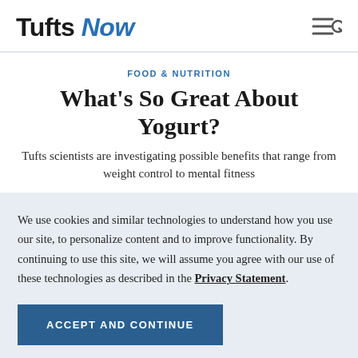Tufts Now
FOOD & NUTRITION
What's So Great About Yogurt?
Tufts scientists are investigating possible benefits that range from weight control to mental fitness
We use cookies and similar technologies to understand how you use our site, to personalize content and to improve functionality. By continuing to use this site, we will assume you agree with our use of these technologies as described in the Privacy Statement.
ACCEPT AND CONTINUE